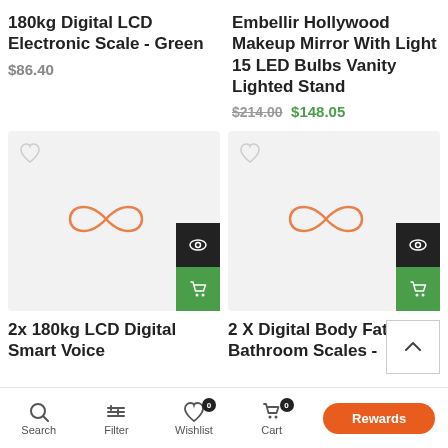180kg Digital LCD Electronic Scale - Green
$86.40
Embellir Hollywood Makeup Mirror With Light 15 LED Bulbs Vanity Lighted Stand
$214.00 $148.05
[Figure (screenshot): Product card with infinity logo placeholder, eye icon and cart icon buttons, left card]
[Figure (screenshot): Product card with infinity logo placeholder, eye icon and cart icon buttons, right card]
2x 180kg LCD Digital Smart Voice
2 X Digital Body Fat Bathroom Scales -
Search  Filter  Wishlist 0  Cart 0  Account  Rewards